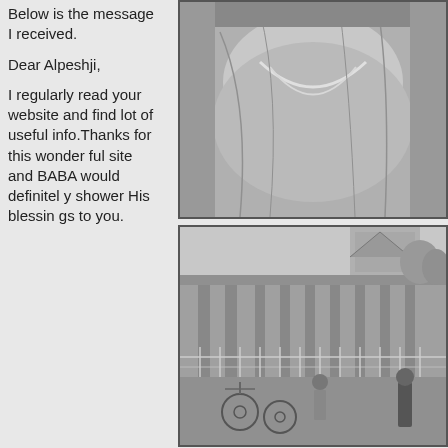Below is the message I received.
Dear Alpeshji,
I regularly read your website and find lot of useful info.Thanks for this wonderful site and BABA would definitely shower His blessings to you.
[Figure (photo): Black and white close-up photograph of a person in traditional Indian attire with jewelry]
[Figure (photo): Black and white photograph of an Indian temple exterior with columns and a crowd of people with bicycles in front]